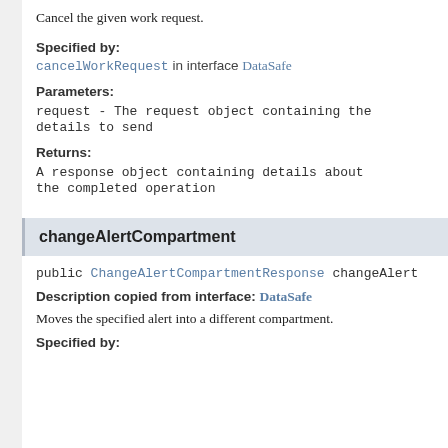Cancel the given work request.
Specified by:
cancelWorkRequest in interface DataSafe
Parameters:
request - The request object containing the details to send
Returns:
A response object containing details about the completed operation
changeAlertCompartment
public ChangeAlertCompartmentResponse changeAlert
Description copied from interface: DataSafe
Moves the specified alert into a different compartment.
Specified by: